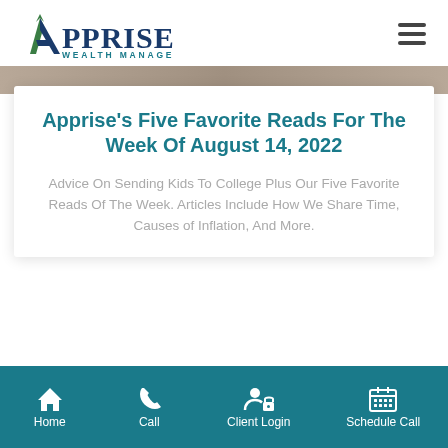[Figure (logo): Apprise Wealth Management logo with green/teal 'A' icon and dark blue serif 'APPRISE' text and teal 'WEALTH MANAGEMENT' subtitle]
Apprise's Five Favorite Reads For The Week Of August 14, 2022
Advice On Sending Kids To College Plus Our Five Favorite Reads Of The Week. Articles Include How We Share Time, Causes of Inflation, And More.
Home  Call  Client Login  Schedule Call